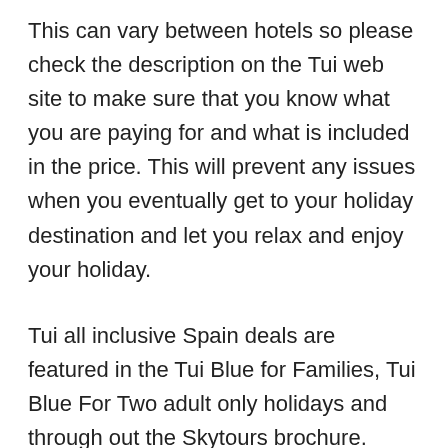This can vary between hotels so please check the description on the Tui web site to make sure that you know what you are paying for and what is included in the price. This will prevent any issues when you eventually get to your holiday destination and let you relax and enjoy your holiday.
Tui all inclusive Spain deals are featured in the Tui Blue for Families, Tui Blue For Two adult only holidays and through out the Skytours brochure. There are lots of all inclusive options including Tui Magic Life which offers 24 hour all inclusive and lots of activities.
Tui Holidays Spain Late